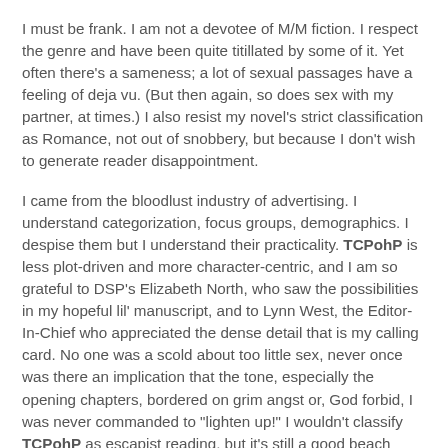I must be frank. I am not a devotee of M/M fiction. I respect the genre and have been quite titillated by some of it. Yet often there's a sameness; a lot of sexual passages have a feeling of deja vu. (But then again, so does sex with my partner, at times.) I also resist my novel's strict classification as Romance, not out of snobbery, but because I don't wish to generate reader disappointment.
I came from the bloodlust industry of advertising. I understand categorization, focus groups, demographics. I despise them but I understand their practicality. TCPohP is less plot-driven and more character-centric, and I am so grateful to DSP's Elizabeth North, who saw the possibilities in my hopeful lil' manuscript, and to Lynn West, the Editor-In-Chief who appreciated the dense detail that is my calling card. No one was a scold about too little sex, never once was there an implication that the tone, especially the opening chapters, bordered on grim angst or, God forbid, I was never commanded to "lighten up!" I wouldn't classify TCPohP as escapist reading, but it's still a good beach read, something to pop open in an airport terminal...and isn't all fiction